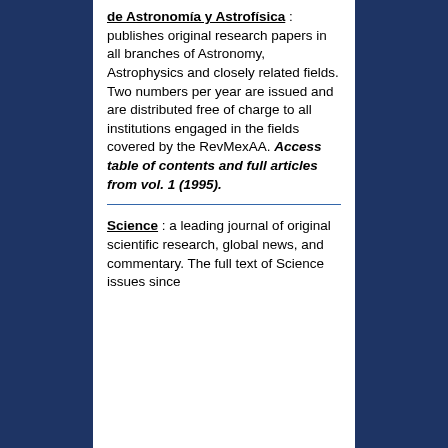Revista Mexicana de Astronomía y Astrofísica : publishes original research papers in all branches of Astronomy, Astrophysics and closely related fields. Two numbers per year are issued and are distributed free of charge to all institutions engaged in the fields covered by the RevMexAA. Access table of contents and full articles from vol. 1 (1995).
Science : a leading journal of original scientific research, global news, and commentary. The full text of Science issues since